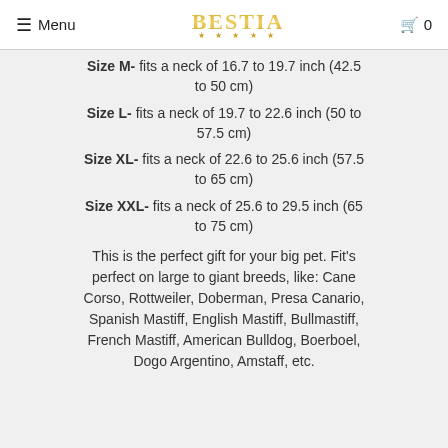Menu | BESTIA | 0
Size M- fits a neck of 16.7 to 19.7 inch (42.5 to 50 cm)
Size L- fits a neck of 19.7 to 22.6 inch (50 to 57.5 cm)
Size XL- fits a neck of 22.6 to 25.6 inch (57.5 to 65 cm)
Size XXL- fits a neck of 25.6 to 29.5 inch (65 to 75 cm)
This is the perfect gift for your big pet. Fit's perfect on large to giant breeds, like: Cane Corso, Rottweiler, Doberman, Presa Canario, Spanish Mastiff, English Mastiff, Bullmastiff, French Mastiff, American Bulldog, Boerboel, Dogo Argentino, Amstaff, etc.